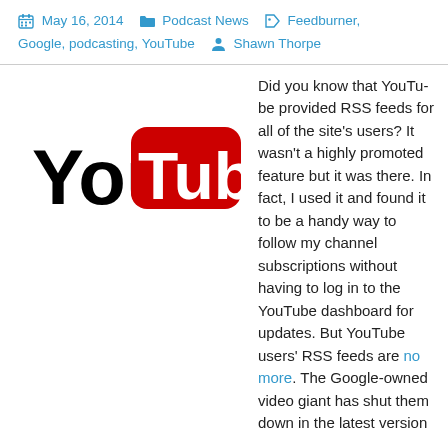May 16, 2014  Podcast News  Feedburner, Google, podcasting, YouTube  Shawn Thorpe
[Figure (logo): YouTube logo with black 'You' text and red rounded rectangle with white 'Tube' text]
Did you know that YouTube provided RSS feeds for all of the site's users? It wasn't a highly promoted feature but it was there. In fact, I used it and found it to be a handy way to follow my channel subscriptions without having to log in to the YouTube dashboard for updates. But YouTube users' RSS feeds are no more. The Google-owned video giant has shut them down in the latest version